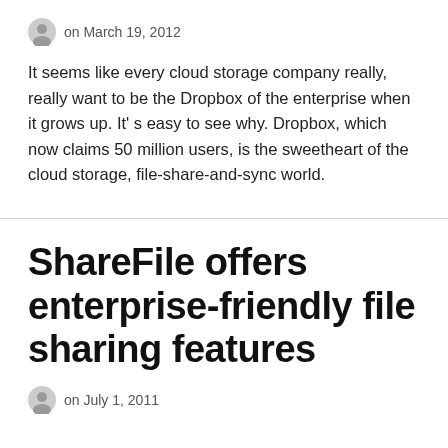on March 19, 2012
It seems like every cloud storage company really, really want to be the Dropbox of the enterprise when it grows up. It' s easy to see why. Dropbox, which now claims 50 million users, is the sweetheart of the cloud storage, file-share-and-sync world.
ShareFile offers enterprise-friendly file sharing features
on July 1, 2011